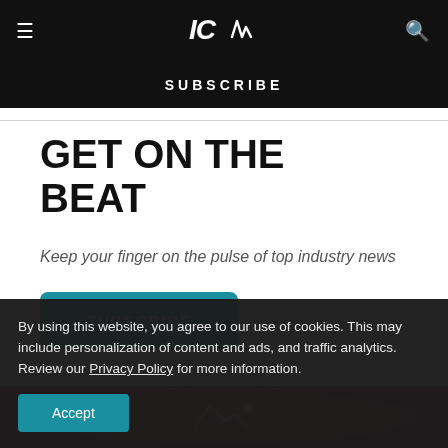ICM logo navigation with hamburger menu and search icon
SUBSCRIBE
GET ON THE BEAT
Keep your finger on the pulse of top industry news
SUBSCRIBE
[Figure (photo): Red/dark-red circuit board or tech background image strip]
By using this website, you agree to our use of cookies. This may include personalization of content and ads, and traffic analytics. Review our Privacy Policy for more information.
Accept